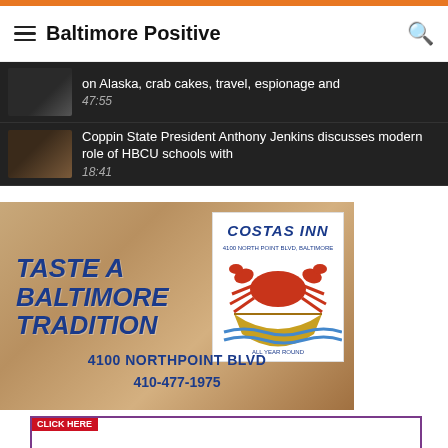Baltimore Positive
on Alaska, crab cakes, travel, espionage and
47:55
Coppin State President Anthony Jenkins discusses modern role of HBCU schools with
18:41
[Figure (advertisement): Costas Inn advertisement. Text: TASTE A BALTIMORE TRADITION, 4100 NORTHPOINT BLVD, 410-477-1975. Features Costas Inn logo with crab illustration.]
Baltimore